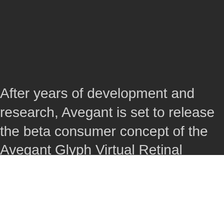After years of development and research, Avegant is set to release the beta consumer concept of the Avegant Glyph Virtual Retinal Display.